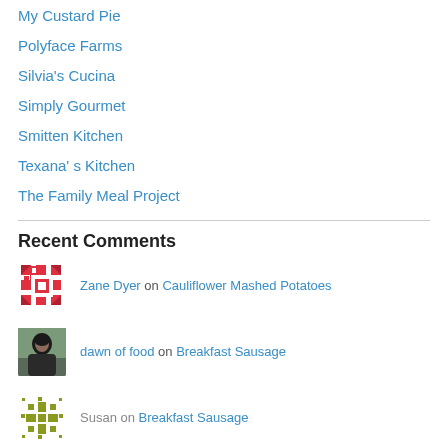My Custard Pie
Polyface Farms
Silvia's Cucina
Simply Gourmet
Smitten Kitchen
Texana' s Kitchen
The Family Meal Project
Recent Comments
Zane Dyer on Cauliflower Mashed Potatoes
dawn of food on Breakfast Sausage
Susan on Breakfast Sausage
Dorothy's New Vintag… on Quiche